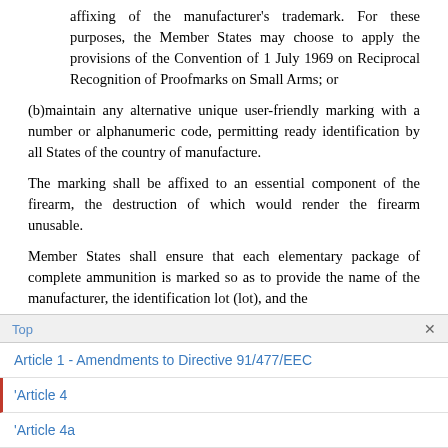affixing of the manufacturer's trademark. For these purposes, the Member States may choose to apply the provisions of the Convention of 1 July 1969 on Reciprocal Recognition of Proofmarks on Small Arms; or
(b) maintain any alternative unique user-friendly marking with a number or alphanumeric code, permitting ready identification by all States of the country of manufacture.
The marking shall be affixed to an essential component of the firearm, the destruction of which would render the firearm unusable.
Member States shall ensure that each elementary package of complete ammunition is marked so as to provide the name of the manufacturer, the identification lot (lot), and the
Top
Article 1 - Amendments to Directive 91/477/EEC
'Article 4
'Article 4a